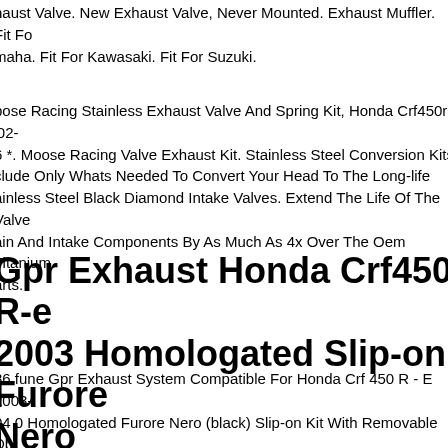haust Valve. New Exhaust Valve, Never Mounted. Exhaust Muffler. Fit For maha. Fit For Kawasaki. Fit For Suzuki.
pose Racing Stainless Exhaust Valve And Spring Kit, Honda Crf450r '02-6 *. Moose Racing Valve Exhaust Kit. Stainless Steel Conversion Kits clude Only Whats Needed To Convert Your Head To The Long-life ainless Steel Black Diamond Intake Valves. Extend The Life Of The Valve ain And Intake Components By As Much As 4x Over The Oem Titanium arts.
Gpr Exhaust Honda Crf450 R-e 2003 Homologated Slip-on Furore Nero
86.fune Gpr Exhaust System Compatible For Honda Crf 450 R - E 2003-04 0 Homologated Furore Nero (black) Slip-on Kit With Removable Db ller (baffle) For Racing Use,it Include Specific Link Pipe, Brackets, Holder nd Fasteners, Link Pipe Stainless Steel Made (aisi 304) And Caps Ergal ade By Cnc Machineries While Silencer Body Made By Black Aluminum eveloped From Gpr Thanks To Moto Gp And Sbk Races Experiences. Th